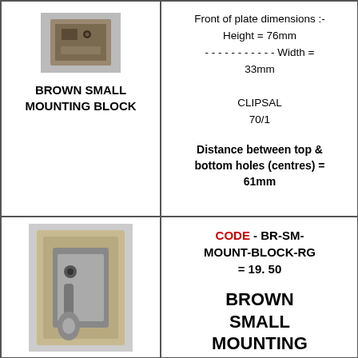[Figure (photo): Brown small mounting block product photo, top view, small rectangular block]
BROWN SMALL MOUNTING BLOCK
Front of plate dimensions :- Height = 76mm - - - - - - - - - - - Width = 33mm

CLIPSAL
70/1
Distance between top & bottom holes (centres) = 61mm
[Figure (photo): Brown small mounting block product photo, front view showing bracket and screw hole]
CODE - BR-SM-MOUNT-BLOCK-RG = 19. 50
BROWN SMALL MOUNTING BLOCK